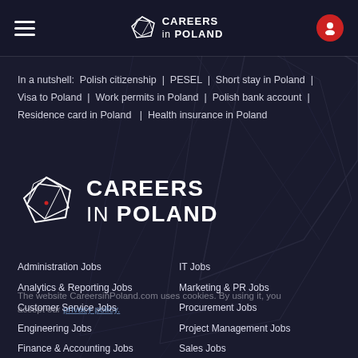CAREERS in POLAND
In a nutshell: Polish citizenship | PESEL | Short stay in Poland | Visa to Poland | Work permits in Poland | Polish bank account | Residence card in Poland | Health insurance in Poland
[Figure (logo): Careers in Poland logo — geometric diamond/polygon outline icon with CAREERS in POLAND text]
Administration Jobs
IT Jobs
Analytics & Reporting Jobs
Marketing & PR Jobs
Customer Service Jobs
Procurement Jobs
Engineering Jobs
Project Management Jobs
Finance & Accounting Jobs
Sales Jobs
Human Resources Jobs
Startup Jobs
Java Jobs
Telecommunication Jobs
The website CareersinPoland.com uses cookies. By using it, you accept our privacy policy.